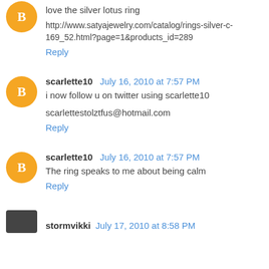love the silver lotus ring
http://www.satyajewelry.com/catalog/rings-silver-c-169_52.html?page=1&products_id=289
Reply
scarlette10  July 16, 2010 at 7:57 PM
i now follow u on twitter using scarlette10
scarlettestolztfus@hotmail.com
Reply
scarlette10  July 16, 2010 at 7:57 PM
The ring speaks to me about being calm
Reply
stormvikki  July 17, 2010 at 8:58 PM